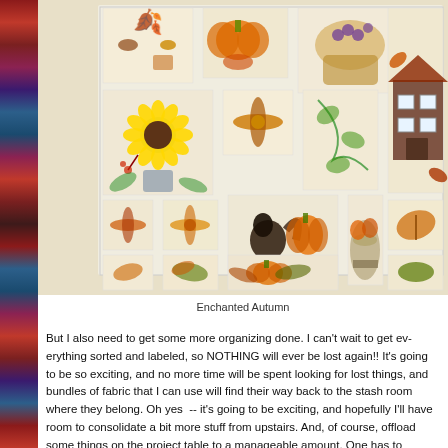[Figure (photo): A collection of autumn-themed quilt blocks laid out on a white background, featuring appliqued designs including sunflowers, leaves, pumpkins, a house, squirrels, birds, and other fall motifs in warm orange, red, yellow, and brown tones.]
Enchanted Autumn
But I also need to get some more organizing done. I can't wait to get everything sorted and labeled, so NOTHING will ever be lost again!! It's going to be so exciting, and no more time will be spent looking for lost things, and bundles of fabric that I can use will find their way back to the stash room where they belong. Oh yes -- it's going to be exciting, and hopefully I'll have room to consolidate a bit more stuff from upstairs. And, of course, offload some things on the project table to a manageable amount. One has to experiment, and that particular thing didn't work out, but now I know!
And there are loads of projects on those UFO lists that need to be comp...